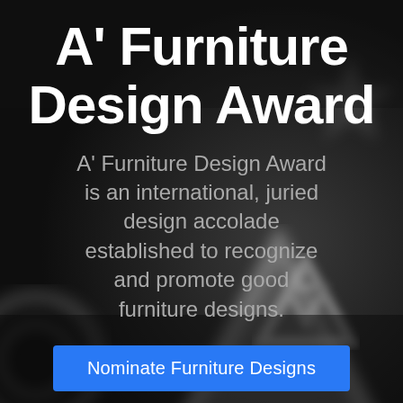[Figure (photo): Dark background with blurred metallic award trophies — black and white, abstract star/triangle shapes]
A' Furniture Design Award
A' Furniture Design Award is an international, juried design accolade established to recognize and promote good furniture designs.
Nominate Furniture Designs
View Best Furniture Designs